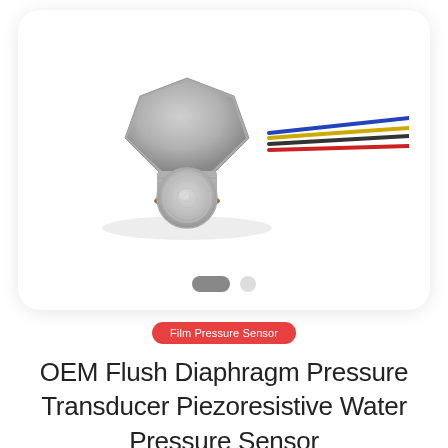[Figure (photo): A stainless steel OEM flush diaphragm pressure sensor/transducer with hexagonal nut body, visible circular sensing diaphragm at front, brown rubber O-ring gasket, and four colored wires (blue, yellow, black, red) extending to the right. White background. Below the sensor image are two carousel indicator dots — one larger dark pill-shaped dot and one smaller light circle.]
Film Pressure Sensor
OEM Flush Diaphragm Pressure Transducer Piezoresistive Water Pressure Sensor